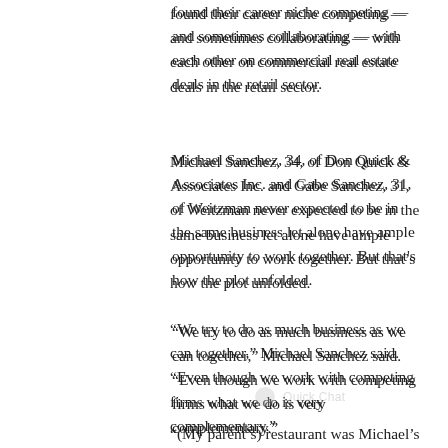found their career niche competing — and sometimes collaborating — with each other on commercial real estate deals in the retail sector.
Michael Sanchez, 34, of Don Quick & Associates Inc. and Gabe Sanchez, 31, of Weitzman never expected to be in the same business let alone have ample opportunity to work together. But that's how the plot unfolded.
“We try to do as much business as we can together,” Michael Sanchez said. “Even though we work with competing firms what we do is very complementary.”
They both know the restaurant business inside and out. Michael even attended Le Cordon Bleu College of Culinary Arts. Their parents operated a Round Rock eatery for years.
“(My parent’s) restaurant was Michael’s Tacos,”